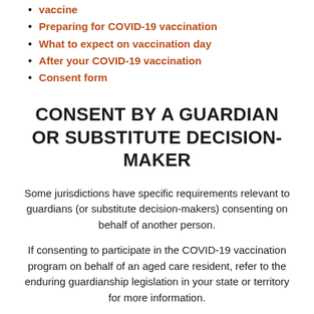vaccine
Preparing for COVID-19 vaccination
What to expect on vaccination day
After your COVID-19 vaccination
Consent form
CONSENT BY A GUARDIAN OR SUBSTITUTE DECISION-MAKER
Some jurisdictions have specific requirements relevant to guardians (or substitute decision-makers) consenting on behalf of another person.
If consenting to participate in the COVID-19 vaccination program on behalf of an aged care resident, refer to the enduring guardianship legislation in your state or territory for more information.